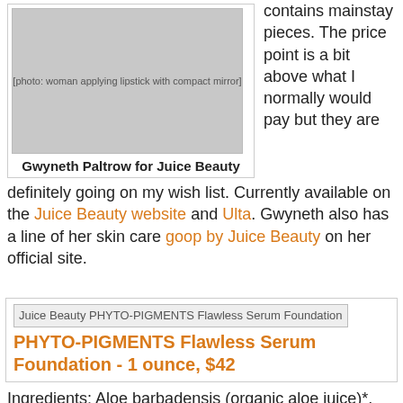[Figure (photo): Woman applying lipstick using a compact mirror, blonde hair, white top]
Gwyneth Paltrow for Juice Beauty
contains mainstay pieces. The price point is a bit above what I normally would pay but they are definitely going on my wish list. Currently available on the Juice Beauty website and Ulta. Gwyneth also has a line of her skin care goop by Juice Beauty on her official site.
[Figure (screenshot): Juice Beauty PHYTO-PIGMENTS Flawless Serum Foundation product image]
PHYTO-PIGMENTS Flawless Serum Foundation - 1 ounce, $42
Ingredients: Aloe barbadensis (organic aloe juice)*, carthamnus tinctorius (organic safflower oil)*, organic glycerin*, potassium cetyl phosphate, sorbitan sesquioleate